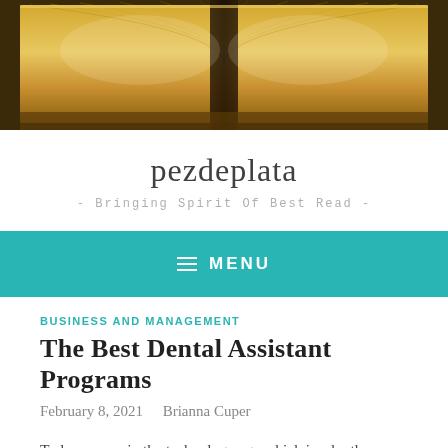[Figure (photo): Open book with golden/tan pages viewed from above, close-up photo used as website header banner]
pezdeplata
- Bringing Spirit Of Best Read -
MENU
BUSINESS AND MANAGEMENT
The Best Dental Assistant Programs
February 8, 2021   Brianna Cuper
Today we are in the technology age which is why there are so many programs available on the internet. For example